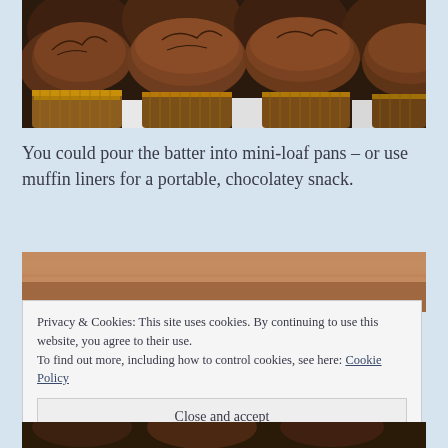[Figure (photo): Close-up photo of chocolate muffins in paper liners, dark brown baked tops, viewed from above]
You could pour the batter into mini-loaf pans – or use muffin liners for a portable, chocolatey snack.
[Figure (photo): Partial photo with brownish/tan background, top portion of another food image]
Privacy & Cookies: This site uses cookies. By continuing to use this website, you agree to their use.
To find out more, including how to control cookies, see here: Cookie Policy
Close and accept
[Figure (photo): Bottom sliver of a food photo showing dark chocolate-colored baked goods]